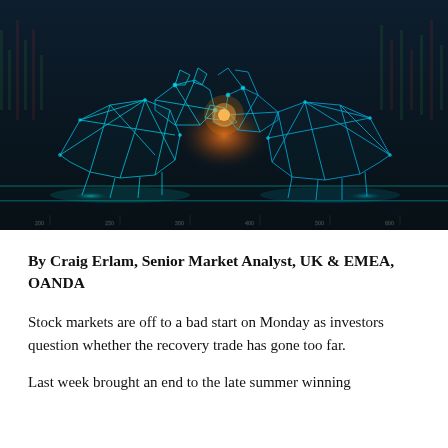[Figure (photo): Dark financial market background with glowing wireframe polygon bear and bull figures facing each other with an orange/teal light burst at the center, stock chart lines visible in the background.]
By Craig Erlam, Senior Market Analyst, UK & EMEA, OANDA
Stock markets are off to a bad start on Monday as investors question whether the recovery trade has gone too far.
Last week brought an end to the late summer winning